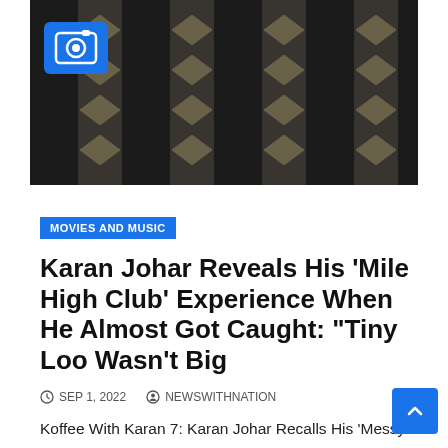[Figure (photo): Close-up photo of a person wearing an ornate black and gold/silver patterned garment with diamond/chevron motifs. A blue camera icon badge is overlaid in the top-left corner.]
MOVIES AND MUSIC
Karan Johar Reveals His ‘Mile High Club’ Experience When He Almost Got Caught: “Tiny Loo Wasn’t Big
SEP 1, 2022   NEWSWITHNATION
Koffee With Karan 7: Karan Johar Recalls His ‘Messy’ Mile High Club Experience, “With My Luck, I Also Nearly Got…